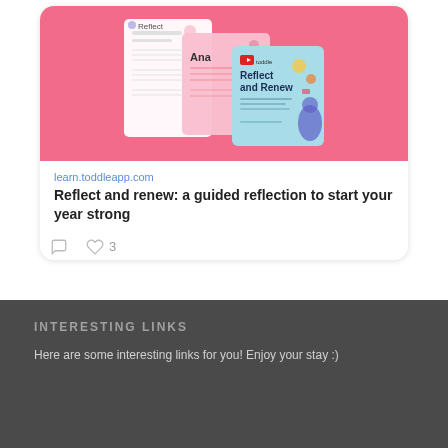[Figure (screenshot): Card with pink background showing stacked document/slide mockups — a white document with text lines, a pink card labeled 'Ana...', and a teal/light-blue card with 'Reflect and Renew' text and colorful illustrations]
learn.toddleapp.com
Reflect and renew: a guided reflection to start your year strong
INTERESTING LINKS
Here are some interesting links for you! Enjoy your stay :)